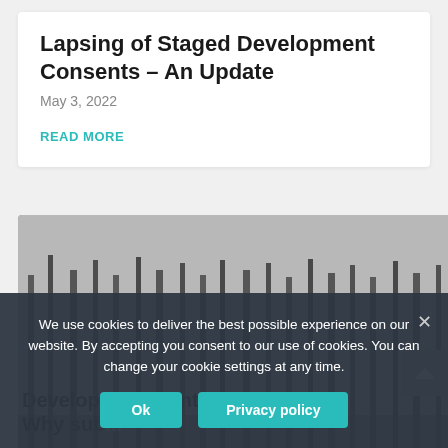Lapsing of Staged Development Consents – An Update
May 3, 2022
READ MORE
[Figure (photo): Black and white composite image of a forest with birch trees on the left and a hand drawing on a land development map/plan on the right]
Development Control Orders – Why sub...
We use cookies to deliver the best possible experience on our website. By accepting you consent to our use of cookies. You can change your cookie settings at any time.